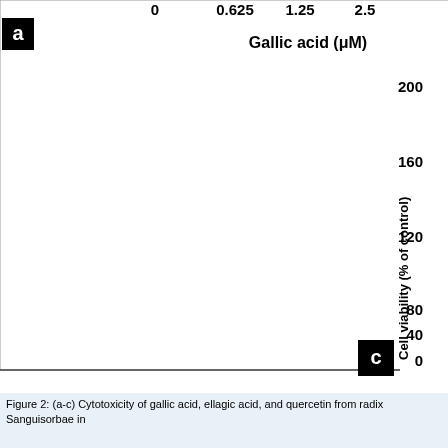[Figure (continuous-plot): Partial view of a bar/line chart showing cell viability (% of control) vs Gallic acid (µM). X-axis labels visible: 0, 0.625, 1.25, 2.5. Y-axis labels: 0, 40, 80, 120, 160, 200. Y-axis title: Cell viability (% of control). Panel label 'a' top-left, panel label 'c' bottom-right. The chart area is mostly white/empty in this cropped view.]
Figure 2: (a-c) Cytotoxicity of gallic acid, ellagic acid, and quercetin from radix Sanguisorbae in